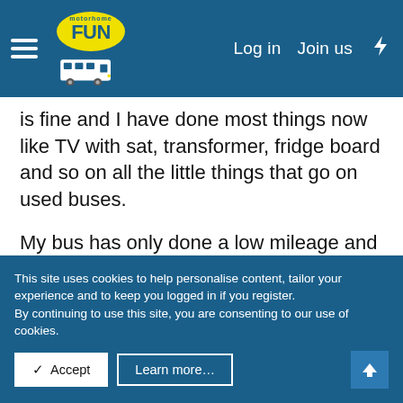motorhome FUN — Log in  Join us
is fine and I have done most things now like TV with sat, transformer, fridge board and so on all the little things that go on used buses.
My bus has only done a low mileage and I like driving it and to change could cost much more than the original purchase price getting it up to spec.
So it booked in on the 7th Jan to be done followed by next job a full exterior paint job.
This site uses cookies to help personalise content, tailor your experience and to keep you logged in if you register. By continuing to use this site, you are consenting to our use of cookies. ✓ Accept  Learn more…